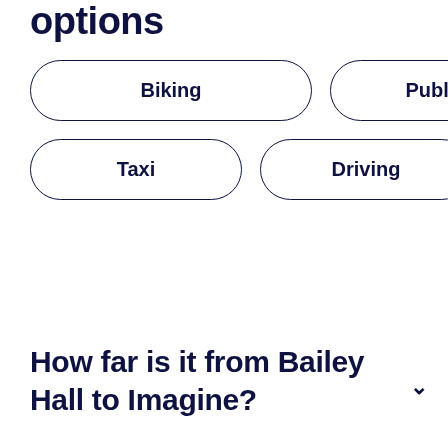options
Biking
Public Transit
Taxi
Driving
Walking
How far is it from Bailey Hall to Imagine?